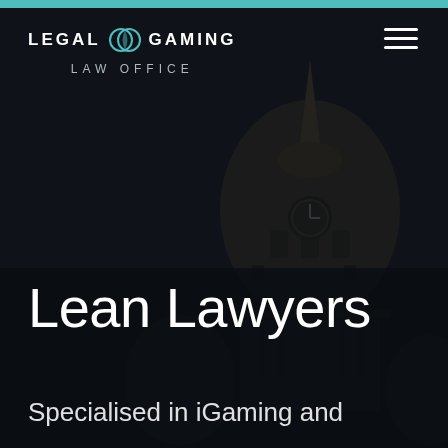[Figure (screenshot): Website screenshot of Legal Gaming Law Office homepage hero section. Dark background with a dimly lit photograph of a government building dome with gold accents. Teal top bar. Logo in upper left with hamburger menu in upper right.]
Lean Lawyers
Specialised in iGaming and